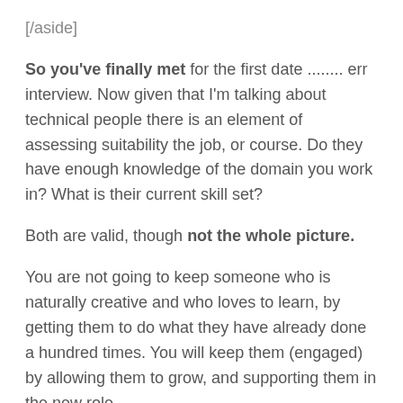[/aside]
So you've finally met for the first date ........ err interview. Now given that I'm talking about technical people there is an element of assessing suitability the job, or course. Do they have enough knowledge of the domain you work in? What is their current skill set?
Both are valid, though not the whole picture.
You are not going to keep someone who is naturally creative and who loves to learn, by getting them to do what they have already done a hundred times. You will keep them (engaged) by allowing them to grow, and supporting them in the new role.
Interview for future potential, not just current limits. If you don't, you are limiting both of you from the outset. You will loose the good people, as they will get frustrated. So think